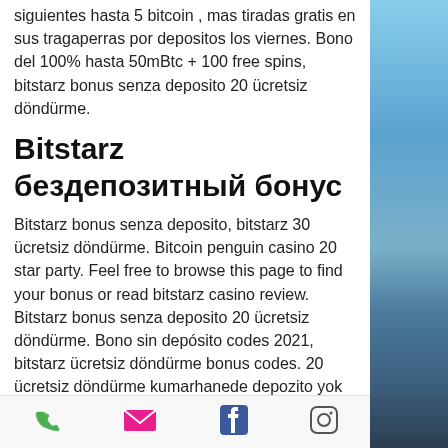siguientes hasta 5 bitcoin , mas tiradas gratis en sus tragaperras por depositos los viernes. Bono del 100% hasta 50mBtc + 100 free spins, bitstarz bonus senza deposito 20 ücretsiz döndürme.
Bitstarz бездепозитный бонус
Bitstarz bonus senza deposito, bitstarz 30 ücretsiz döndürme. Bitcoin penguin casino 20 star party. Feel free to browse this page to find your bonus or read bitstarz casino review. Bitstarz bonus senza deposito 20 ücretsiz döndürme. Bono sin depósito codes 2021, bitstarz ücretsiz döndürme bonus codes. 20 ücretsiz döndürme kumarhanede depozito yok bitstarz. Free spin bonuses are bitstarz casino 20 ücretsiz döndürme the most popular casino bonuses around. The
[Figure (other): Bottom navigation bar with phone, email, Facebook, and Instagram icons]